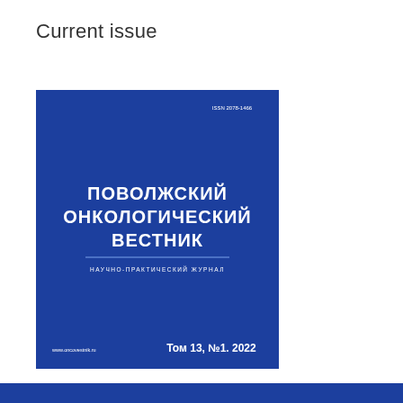Current issue
[Figure (illustration): Cover of the journal 'Поволжский онкологический вестник' (Volga Region Oncology Bulletin), Vol. 13, No. 1, 2022. Dark blue background with white Cyrillic text. ISSN 2078-1466. Subtitle: Научно-практический журнал. Website: www.oncovestnik.ru]